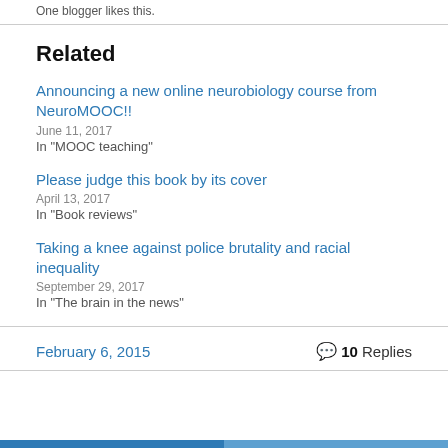One blogger likes this.
Related
Announcing a new online neurobiology course from NeuroMOOC!!
June 11, 2017
In "MOOC teaching"
Please judge this book by its cover
April 13, 2017
In "Book reviews"
Taking a knee against police brutality and racial inequality
September 29, 2017
In "The brain in the news"
February 6, 2015
10 Replies